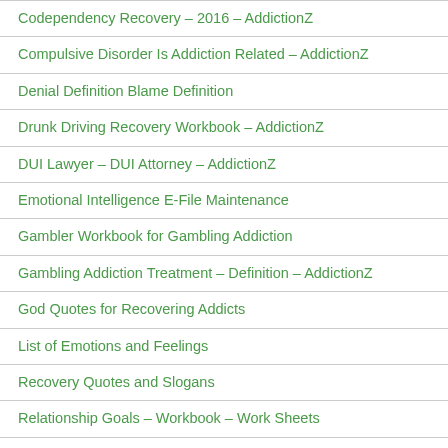Codependency Recovery – 2016 – AddictionZ
Compulsive Disorder Is Addiction Related – AddictionZ
Denial Definition Blame Definition
Drunk Driving Recovery Workbook – AddictionZ
DUI Lawyer – DUI Attorney – AddictionZ
Emotional Intelligence E-File Maintenance
Gambler Workbook for Gambling Addiction
Gambling Addiction Treatment – Definition – AddictionZ
God Quotes for Recovering Addicts
List of Emotions and Feelings
Recovery Quotes and Slogans
Relationship Goals – Workbook – Work Sheets